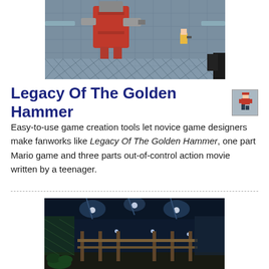[Figure (screenshot): Top-down pixel art video game screenshot showing a large robot/mech enemy in red and grey, a small player character on the right, set in an industrial/factory environment with chain-link fences and metal pipes.]
Legacy Of The Golden Hammer
[Figure (illustration): Small 16-bit pixel art sprite of a running character in red clothes, on a grey background, displayed as a thumbnail icon next to the title.]
Easy-to-use game creation tools let novice game designers make fanworks like Legacy Of The Golden Hammer, one part Mario game and three parts out-of-control action movie written by a teenager.
[Figure (screenshot): 3D rendered video game scene showing a dark indoor environment with glowing ceiling lights, ornate fencing/railings, tropical plants, and a mysterious atmospheric setting.]